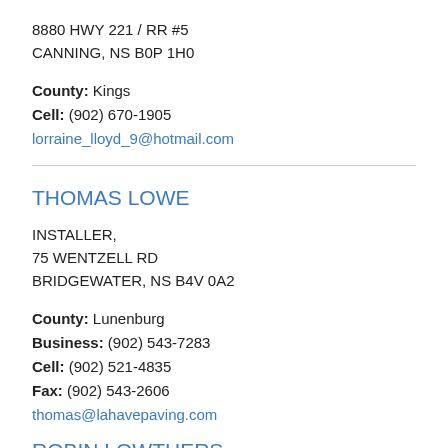8880 HWY 221 / RR #5
CANNING, NS B0P 1H0
County: Kings
Cell: (902) 670-1905
lorraine_lloyd_9@hotmail.com
THOMAS LOWE
INSTALLER,
75 WENTZELL RD
BRIDGEWATER, NS B4V 0A2
County: Lunenburg
Business: (902) 543-7283
Cell: (902) 521-4835
Fax: (902) 543-2606
thomas@lahavepaving.com
ROBIN LOWTHERS
INSTALLER,
45 ETTER RD / PO BOX 37
NEWPORT, NS B0N 0A0